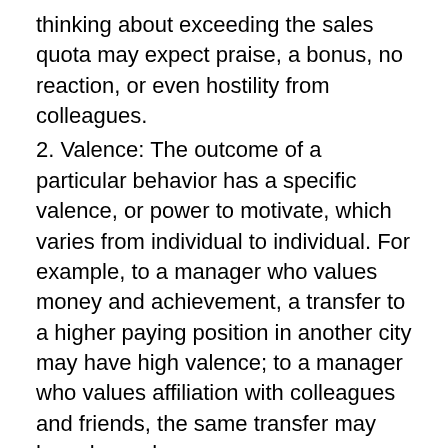thinking about exceeding the sales quota may expect praise, a bonus, no reaction, or even hostility from colleagues.
2. Valence: The outcome of a particular behavior has a specific valence, or power to motivate, which varies from individual to individual. For example, to a manager who values money and achievement, a transfer to a higher paying position in another city may have high valence; to a manager who values affiliation with colleagues and friends, the same transfer may have low valence.
3. Effort performance expectancy: People's expectations of how difficult it will be to perform successfully affect their decisions about behavior. Given a choice, individuals tend to select the level of performance that seems to have the best chance of achieving an outcome they value.